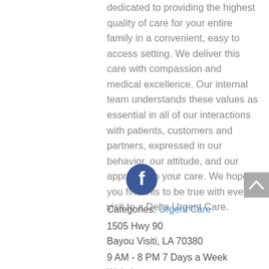dedicated to providing the highest quality of care for your entire family in a convenient, easy to access setting. We deliver this care with compassion and medical excellence. Our internal team understands these values as essential in all of our interactions with patients, customers and partners, expressed in our behavior, our attitude, and our approach to your care. We hope you find this to be true with every visit to a Delta Urgent Care.
[Figure (logo): Facebook circular icon with white 'f' on dark blue background]
[Figure (other): Gray scroll-to-top button with upward caret arrow]
Categories: Urgent Care
1505 Hwy 90
Bayou Visiti, LA 70380
9 AM - 8 PM 7 Days a Week
Website